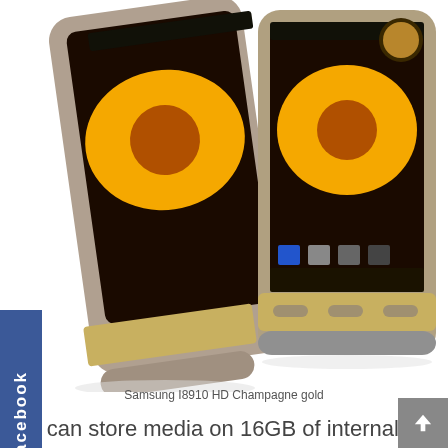[Figure (photo): Two Samsung I8910 HD Champagne gold smartphones displayed side by side, showing the front face with a sunflower wallpaper and Samsung TouchWiz UI, with gold-colored bezels and physical buttons at the bottom.]
Samsung I8910 HD Champagne gold
ers can store media on 16GB of internal memory on additional microSD memory cards. They can en to their own saved music or to traditional programming thanks to its built-in FM radio. Surfing the web is nice and speedy with the Gold Edition's